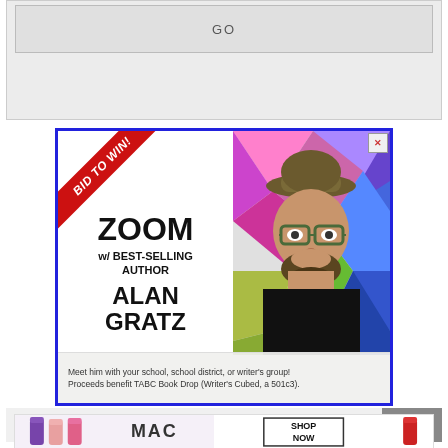[Figure (other): Top search bar area with 'GO' button inside a bordered input on a gray background]
[Figure (infographic): Advertisement banner with blue border. Left side: red diagonal 'BID TO WIN!' ribbon, text 'ZOOM w/ BEST-SELLING AUTHOR ALAN GRATZ'. Right side: photo of a man with beard, glasses, and hat against colorful geometric background. Bottom: 'Meet him with your school, school district, or writer's group! Proceeds benefit TABC Book Drop (Writer's Cubed, a 501c3).']
RECENT POSTS
[Figure (screenshot): MAC cosmetics advertisement showing lipsticks with 'SHOP NOW' button]